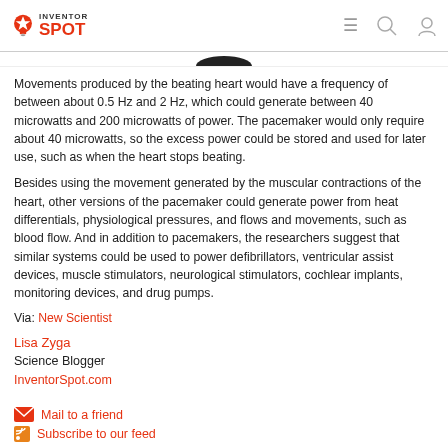INVENTORSPOT
[Figure (photo): Partial image visible at top of content area]
Movements produced by the beating heart would have a frequency of between about 0.5 Hz and 2 Hz, which could generate between 40 microwatts and 200 microwatts of power. The pacemaker would only require about 40 microwatts, so the excess power could be stored and used for later use, such as when the heart stops beating.
Besides using the movement generated by the muscular contractions of the heart, other versions of the pacemaker could generate power from heat differentials, physiological pressures, and flows and movements, such as blood flow. And in addition to pacemakers, the researchers suggest that similar systems could be used to power defibrillators, ventricular assist devices, muscle stimulators, neurological stimulators, cochlear implants, monitoring devices, and drug pumps.
Via: New Scientist
Lisa Zyga
Science Blogger
InventorSpot.com
Mail to a friend
Subscribe to our feed